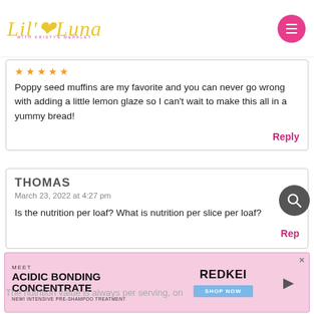Lil' Luna · with Kristyn Merkley
Poppy seed muffins are my favorite and you can never go wrong with adding a little lemon glaze so I can't wait to make this all in a yummy bread!
Reply
THOMAS
March 23, 2022 at 4:27 pm
Is the nutrition per loaf? What is nutrition per slice per loaf?
Reply
[Figure (screenshot): MEET ACIDIC BONDING CONCENTRATE advertisement banner for REDKEN]
The nutrition value is always per serving, on